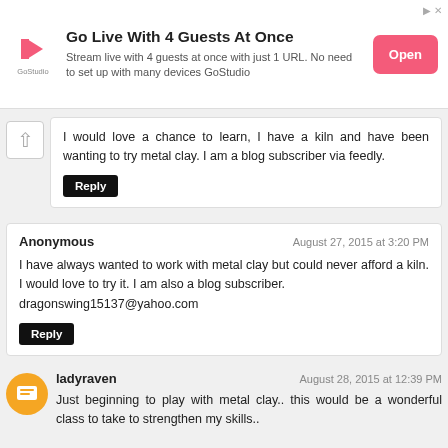[Figure (other): GoStudio advertisement banner: Go Live With 4 Guests At Once. Stream live with 4 guests at once with just 1 URL. No need to set up with many devices GoStudio. Pink Open button on right.]
I would love a chance to learn, I have a kiln and have been wanting to try metal clay. I am a blog subscriber via feedly.
Reply
Anonymous
August 27, 2015 at 3:20 PM
I have always wanted to work with metal clay but could never afford a kiln. I would love to try it. I am also a blog subscriber.
dragonswing15137@yahoo.com
Reply
ladyraven
August 28, 2015 at 12:39 PM
Just beginning to play with metal clay.. this would be a wonderful class to take to strengthen my skills..